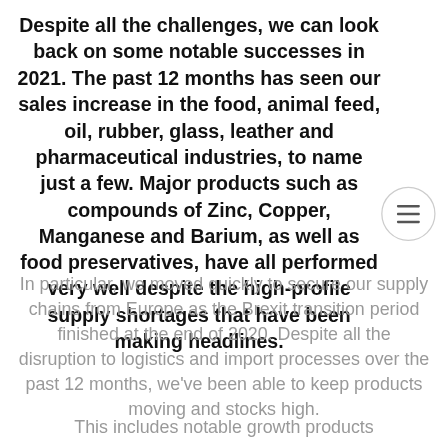Despite all the challenges, we can look back on some notable successes in 2021. The past 12 months has seen our sales increase in the food, animal feed, oil, rubber, glass, leather and pharmaceutical industries, to name just a few. Major products such as compounds of Zinc, Copper, Manganese and Barium, as well as food preservatives, have all performed very well despite the high-profile supply shortages that have been making headlines.
In particular, we moved quickly to secure our supply chains from Europe as the Brexit transition period finished at the end of 2020. Despite all the disruption to logistics and import processes over the past 12 months, we've been able to keep products moving and stocks high.
This includes notable growth products